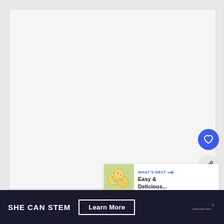[Figure (other): Large light gray blank/white content area, likely a video or image placeholder]
[Figure (other): Blue circular heart/favorite button icon]
[Figure (other): Gray circular share button icon]
[Figure (other): What's Next card with thumbnail of colorful cookies and text 'WHAT'S NEXT → Easy & Delicious...']
SHE CAN STEM
Learn More
[Figure (logo): Small logo marks in bottom right of footer]